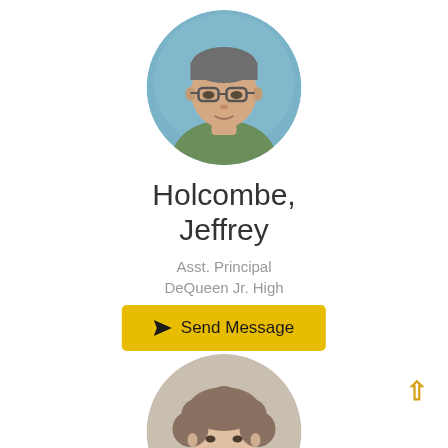[Figure (photo): Circular profile photo of a middle-aged man with glasses wearing a green polo shirt, against a blue background]
Holcombe, Jeffrey
Asst. Principal
DeQueen Jr. High
[Figure (other): Yellow 'Send Message' button with paper airplane icon]
[Figure (photo): Circular profile photo of a woman with curly gray-brown hair, smiling, against a neutral background]